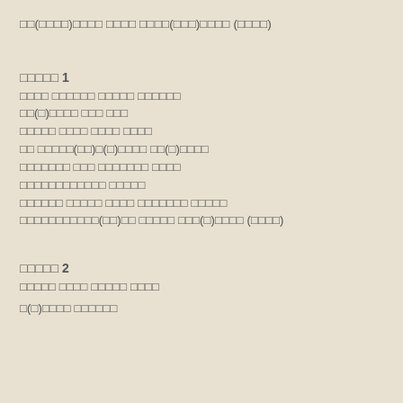□□(□□□□)□□□□ □□□□ □□□□(□□□)□□□□ (□□□□)
□□□□□ 1
□□□□ □□□□□□ □□□□□ □□□□□□
□□(□)□□□□ □□□ □□□
□□□□□ □□□□ □□□□ □□□□
□□ □□□□□(□□)□(□)□□□□ □□(□)□□□□
□□□□□□□ □□□ □□□□□□□ □□□□
□□□□□□□□□□□□ □□□□□
□□□□□□ □□□□□ □□□□ □□□□□□□ □□□□□
□□□□□□□□□□□(□□)□□ □□□□□ □□□(□)□□□□ (□□□□)
□□□□□ 2
□□□□□ □□□□ □□□□□ □□□□
□(□)□□□□ □□□□□□